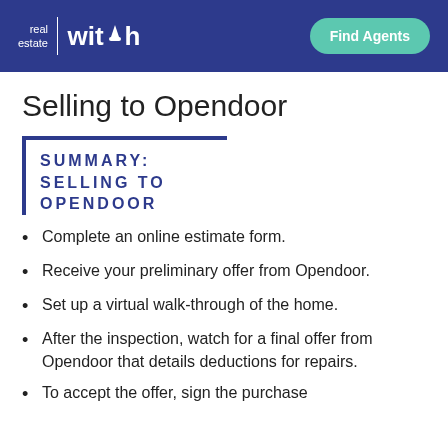real estate witch | Find Agents
Selling to Opendoor
SUMMARY: SELLING TO OPENDOOR
Complete an online estimate form.
Receive your preliminary offer from Opendoor.
Set up a virtual walk-through of the home.
After the inspection, watch for a final offer from Opendoor that details deductions for repairs.
To accept the offer, sign the purchase